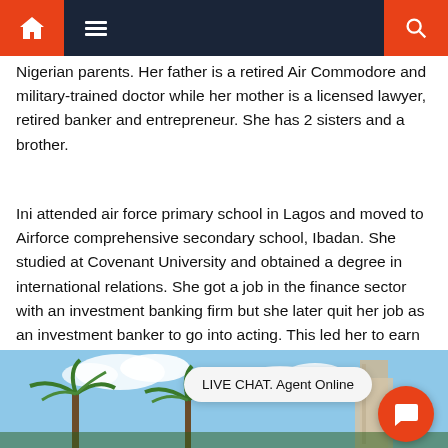Navigation bar with home, menu, and search icons
Nigerian parents. Her father is a retired Air Commodore and military-trained doctor while her mother is a licensed lawyer, retired banker and entrepreneur. She has 2 sisters and a brother.
Ini attended air force primary school in Lagos and moved to Airforce comprehensive secondary school, Ibadan. She studied at Covenant University and obtained a degree in international relations. She got a job in the finance sector with an investment banking firm but she later quit her job as an investment banker to go into acting. This led her to earn a degree in acting from the New Y...
[Figure (photo): Outdoor photo showing palm trees and a building against a blue sky with clouds. A red circular live chat button is overlaid in the bottom right area.]